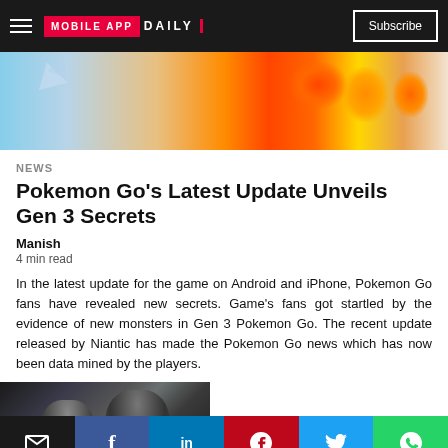MOBILE APP DAILY | Subscribe
[Figure (photo): Hero image with Pokemon Go themed background - fiery orange and sky blue colors with silhouettes]
NEWS
Pokemon Go's Latest Update Unveils Gen 3 Secrets
Manish
4 min read
In the latest update for the game on Android and iPhone, Pokemon Go fans have revealed new secrets. Game's fans got startled by the evidence of new monsters in Gen 3 Pokemon Go. The recent update released by Niantic has made the Pokemon Go news which has now been data mined by the players.
[Figure (photo): Two people (man and woman) in dark setting, article inline photo]